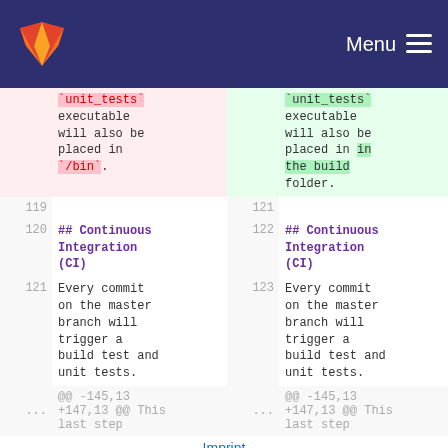GitLab — Menu
| old_ln | old_code | new_ln | new_code |
| --- | --- | --- | --- |
|  | `unit_tests` executable will also be placed in `/bin`. |  | `unit_tests` executable will also be placed in in the build folder. |
| 119 |  | 121 |  |
| 120 | ## Continuous Integration (CI) | 122 | ## Continuous Integration (CI) |
| 121 | Every commit on the master branch will trigger a build test and unit tests. | 123 | Every commit on the master branch will trigger a build test and unit tests. |
| ... | @@ -145,13 +147,13 @@ This last step | ... | @@ -145,13 +147,13 @@ This last step |
Imprint